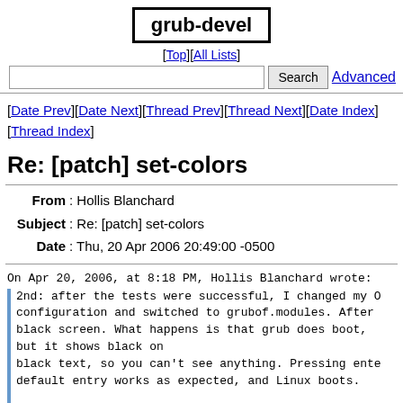grub-devel
[Top][All Lists]
[ Date Prev ][ Date Next ][ Thread Prev ][ Thread Next ][ Date Index ] [ Thread Index ]
Re: [patch] set-colors
From: Hollis Blanchard
Subject: Re: [patch] set-colors
Date: Thu, 20 Apr 2006 20:49:00 -0500
On Apr 20, 2006, at 8:18 PM, Hollis Blanchard wrote:
2nd: after the tests were successful, I changed my O
configuration and switched to grubof.modules. After
black screen. What happens is that grub does boot,
but it shows black on
black text, so you can't see anything. Pressing ente
default entry works as expected, and Linux boots.
Hmmm. It looks like we're using "call-method color!"